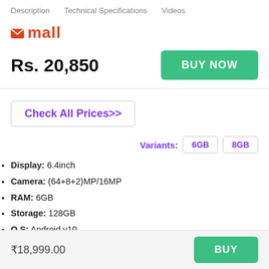Description   Technical Specifications   Videos
[Figure (logo): Mall logo with orange envelope icon and orange bold text 'mall']
Rs. 20,850
BUY NOW
Check All Prices>>
Variants: 6GB 8GB
Display: 6.4inch
Camera: (64+8+2)MP/16MP
RAM: 6GB
Storage: 128GB
O.S: Android v10
Processor: MediaTek Dimensity 800U
₹18,999.00   BUY